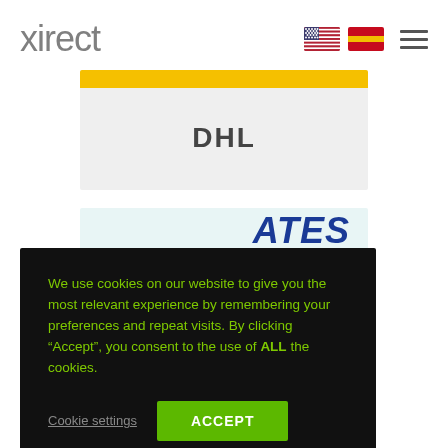xirect
[Figure (logo): DHL carrier card with yellow top bar and grey background, text 'DHL' in bold dark letters]
[Figure (logo): USPS carrier card with light blue background showing partial text 'ATES' and 'VICE' in bold blue italic letters with a red/blue underline]
We use cookies on our website to give you the most relevant experience by remembering your preferences and repeat visits. By clicking “Accept”, you consent to the use of ALL the cookies.
Cookie settings
ACCEPT